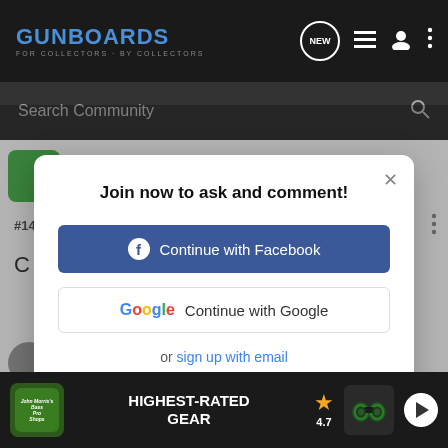GUNBOARDS - FOR COLLECTORS · BY COLLECTORS
Search Community
#14 · Jun 6, 2009
Join now to ask and comment!
Continue with Facebook
Continue with Google
or sign up with email
ncrentile · Diamond Bullet Member
[Figure (screenshot): Bass Pro Shops advertisement banner: HIGHEST-RATED GEAR, rating 4.7 stars, with binoculars image and play button]